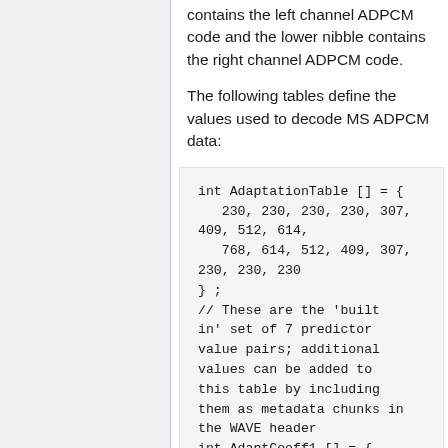contains the left channel ADPCM code and the lower nibble contains the right channel ADPCM code.
The following tables define the values used to decode MS ADPCM data:
int AdaptationTable [] = {
   230, 230, 230, 230, 307,
409, 512, 614,
   768, 614, 512, 409, 307,
230, 230, 230
} ;
// These are the 'built
in' set of 7 predictor
value pairs; additional
values can be added to
this table by including
them as metadata chunks in
the WAVE header
int AdaptCoeff1 [] = {
256, 512, 0, 192, 240,
460, 392 } ;
int AdaptCoeff2 [] = { 0,